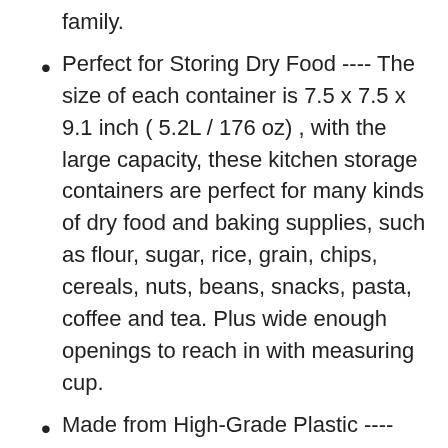family.
Perfect for Storing Dry Food ---- The size of each container is 7.5 x 7.5 x 9.1 inch ( 5.2L / 176 oz) , with the large capacity, these kitchen storage containers are perfect for many kinds of dry food and baking supplies, such as flour, sugar, rice, grain, chips, cereals, nuts, beans, snacks, pasta, coffee and tea. Plus wide enough openings to reach in with measuring cup.
Made from High-Grade Plastic ---- These pantry storage containers are